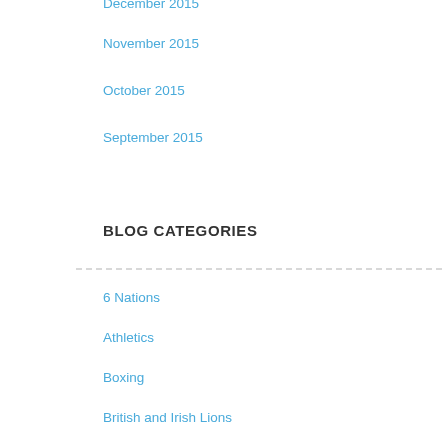December 2015
November 2015
October 2015
September 2015
BLOG CATEGORIES
6 Nations
Athletics
Boxing
British and Irish Lions